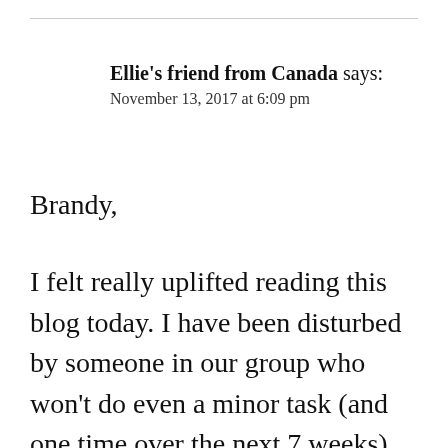Ellie's friend from Canada says:
November 13, 2017 at 6:09 pm
Brandy,
I felt really uplifted reading this blog today. I have been disturbed by someone in our group who won't do even a minor task (and one time over the next 7 weeks) because she doesn't want to become over-